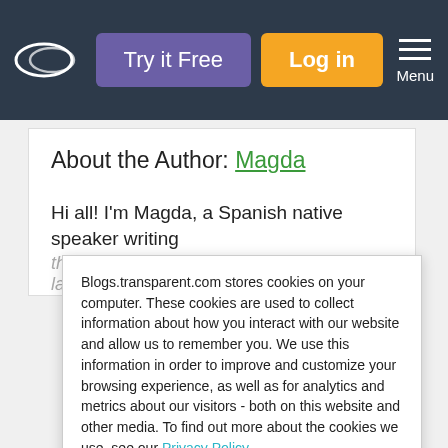Try it Free | Log in | Menu
About the Author: Magda
Hi all! I'm Magda, a Spanish native speaker writing the culture posts in the Transparent language...
Blogs.transparent.com stores cookies on your computer. These cookies are used to collect information about how you interact with our website and allow us to remember you. We use this information in order to improve and customize your browsing experience, as well as for analytics and metrics about our visitors - both on this website and other media. To find out more about the cookies we use, see our Privacy Policy.
If you decline, your information won't be tracked when you visit this website. A single cookie will be used in your browser to remember your preference not to be tracked.
Accept | Decline